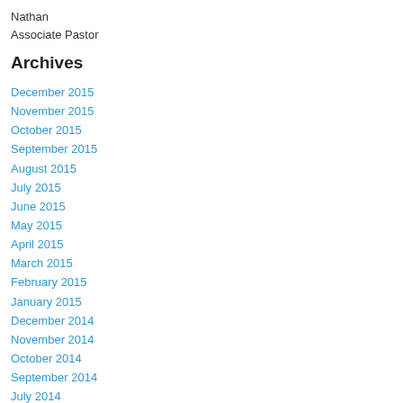Nathan
Associate Pastor
Archives
December 2015
November 2015
October 2015
September 2015
August 2015
July 2015
June 2015
May 2015
April 2015
March 2015
February 2015
January 2015
December 2014
November 2014
October 2014
September 2014
July 2014